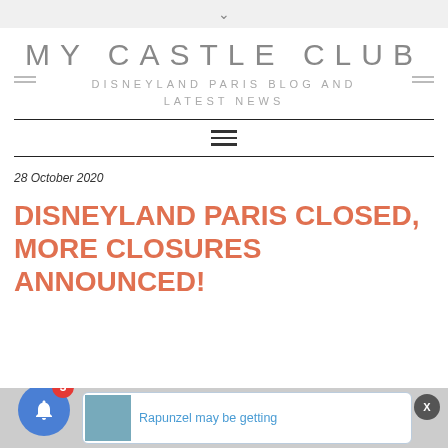v
MY CASTLE CLUB
DISNEYLAND PARIS BLOG AND LATEST NEWS
28 October 2020
DISNEYLAND PARIS CLOSED, MORE CLOSURES ANNOUNCED!
Rapunzel may be getting